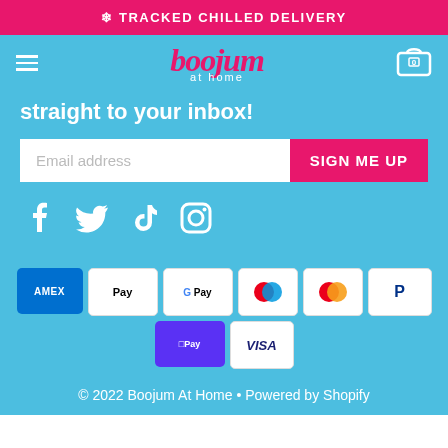* TRACKED CHILLED DELIVERY
[Figure (logo): Boojum at home logo with navigation bar, hamburger menu left, cart icon right]
straight to your inbox!
[Figure (other): Email address input field with SIGN ME UP button]
[Figure (other): Social media icons: Facebook, Twitter, TikTok, Instagram]
[Figure (other): Payment method badges: American Express, Apple Pay, Google Pay, Maestro, Mastercard, PayPal, Shop Pay, Visa]
© 2022 Boojum At Home • Powered by Shopify